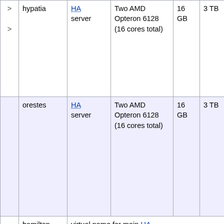|  | Name | Type | CPU | RAM | Disk | Description |
| --- | --- | --- | --- | --- | --- | --- |
| > | hypatia | HA server | Two AMD Opteron 6128 (16 cores total) | 16 GB | 3 TB | Hypatia (d. 415), a philosopher, killed for experimental and other h... |
| > | orestes | HA server | Two AMD Opteron 6128 (16 cores total) | 16 GB | 3 TB | Orestes w... of Alexandria, to maintain between Hy... Cyril. He f... providing C... opportunity Hypatia's de... |
|  | hamilton | virtual name for main HA server |  |  |  | Alexander H... (1755-1804 the island o... was the firs... |